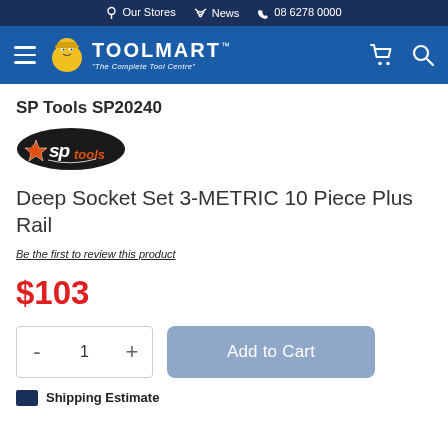Our Stores  News  08 6278 0000
[Figure (logo): Toolmart logo with mascot character and tagline 'The Complete Tool Centre']
SP Tools SP20240
[Figure (logo): SP Tools brand logo with star and stylized text in black and orange]
Deep Socket Set 3-METRIC 10 Piece Plus Rail
Be the first to review this product
$103
- 1 + Add to Cart
Shipping Estimate